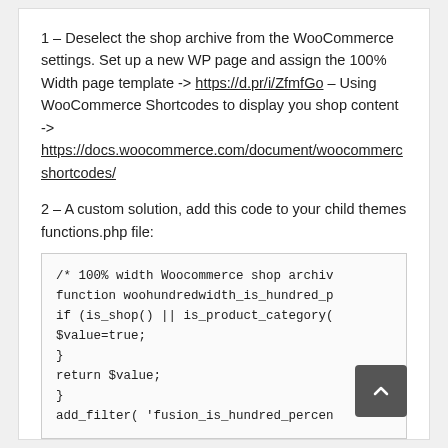1 – Deselect the shop archive from the WooCommerce settings. Set up a new WP page and assign the 100% Width page template -> https://d.pr/i/ZfmfGo – Using WooCommerce Shortcodes to display you shop content -> https://docs.woocommerce.com/document/woocommerce-shortcodes/
2 – A custom solution, add this code to your child themes functions.php file:
[Figure (screenshot): Code block showing PHP snippet: /* 100% width Woocommerce shop archiv function woohundredwidth_is_hundred_p if (is_shop() || is_product_category( $value=true; } return $value; } add_filter( 'fusion_is_hundred_percen]
Thank you kindly